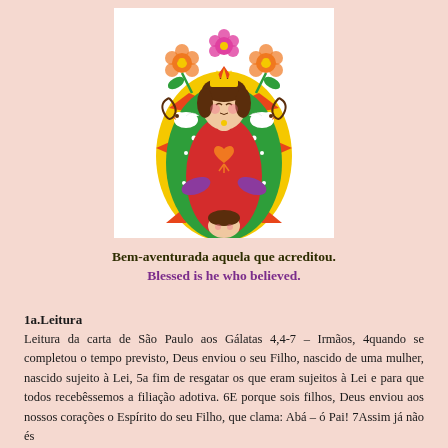[Figure (illustration): Cartoon illustration of Our Lady of Guadalupe (Nossa Senhora de Guadalupe) in a cute kawaii style, with colorful flowers, doves, a crown, green and yellow mandorla, red robe with heart, and a small child figure below.]
Bem-aventurada aquela que acreditou.
Blessed is he who believed.
1a.Leitura
Leitura da carta de São Paulo aos Gálatas 4,4-7 – Irmãos, 4quando se completou o tempo previsto, Deus enviou o seu Filho, nascido de uma mulher, nascido sujeito à Lei, 5a fim de resgatar os que eram sujeitos à Lei e para que todos recebêssemos a filiação adotiva. 6E porque sois filhos, Deus enviou aos nossos corações o Espírito do seu Filho, que clama: Abá – ó Pai! 7Assim já não és